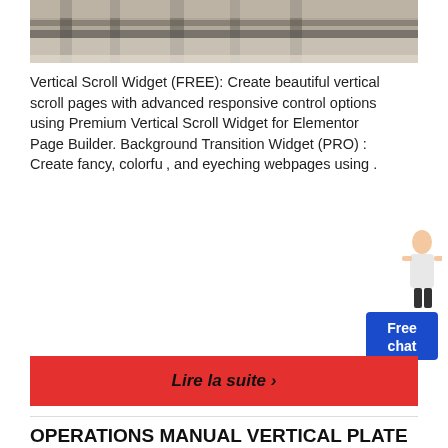[Figure (photo): Top portion of a photo showing industrial machinery or metal framework, partially cropped at top of page]
Vertical Scroll Widget (FREE): Create beautiful vertical scroll pages with advanced responsive control options using Premium Vertical Scroll Widget for Elementor Page Builder. Background Transition Widget (PRO) : Create fancy, colorful, and eyeching webpages using .
[Figure (photo): Illustration or photo of a person (woman in business attire) next to a blue chat widget box labeled 'Free chat']
Lire la suite ›
OPERATIONS MANUAL VERTICAL PLATE CLAMP
[Figure (photo): Industrial warehouse interior showing overhead crane systems, structural steel framework, and heavy manufacturing equipment]